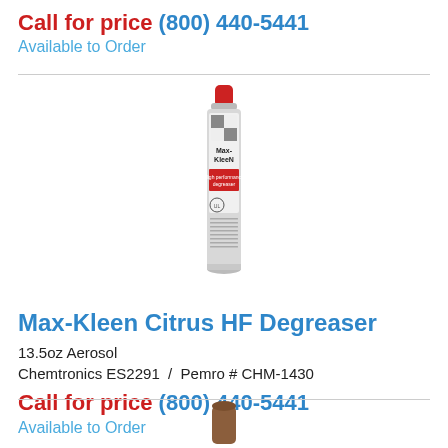Call for price (800) 440-5441
Available to Order
[Figure (photo): Max-Kleen Citrus HF Degreaser aerosol spray can, 13.5oz, white and silver with red cap and red label]
Max-Kleen Citrus HF Degreaser
13.5oz Aerosol
Chemtronics ES2291  /  Pemro # CHM-1430
Call for price (800) 440-5441
Available to Order
[Figure (photo): Partial view of another product at the bottom of the page]